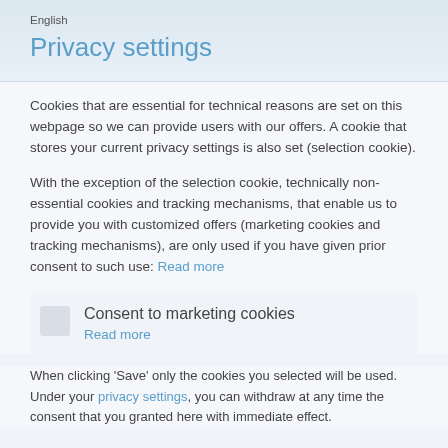English
Privacy settings
Cookies that are essential for technical reasons are set on this webpage so we can provide users with our offers. A cookie that stores your current privacy settings is also set (selection cookie).
With the exception of the selection cookie, technically non-essential cookies and tracking mechanisms, that enable us to provide you with customized offers (marketing cookies and tracking mechanisms), are only used if you have given prior consent to such use: Read more
Consent to marketing cookies
Read more
When clicking 'Save' only the cookies you selected will be used. Under your privacy settings, you can withdraw at any time the consent that you granted here with immediate effect.